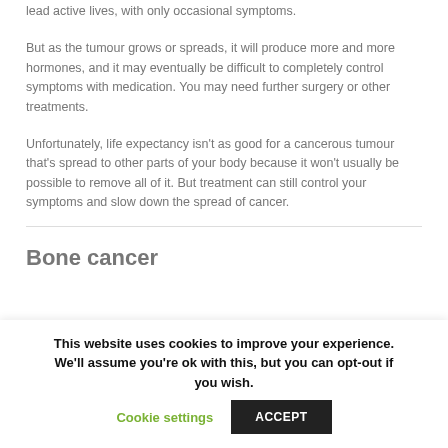lead active lives, with only occasional symptoms.
But as the tumour grows or spreads, it will produce more and more hormones, and it may eventually be difficult to completely control symptoms with medication. You may need further surgery or other treatments.
Unfortunately, life expectancy isn't as good for a cancerous tumour that's spread to other parts of your body because it won't usually be possible to remove all of it. But treatment can still control your symptoms and slow down the spread of cancer.
Bone cancer
This website uses cookies to improve your experience. We'll assume you're ok with this, but you can opt-out if you wish.